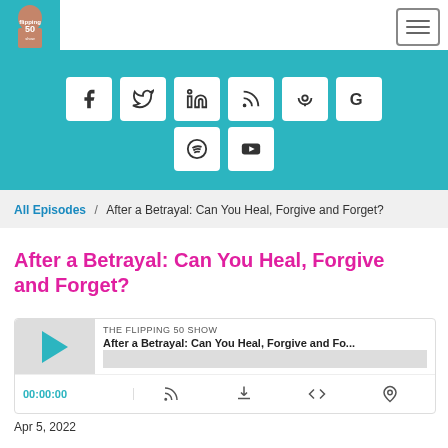[Figure (logo): Flipping 50 podcast logo in top left with teal background]
[Figure (infographic): Social media sharing buttons: Facebook, Twitter, LinkedIn, RSS, Podcast, Google, Spotify, YouTube on teal background]
All Episodes
After a Betrayal: Can You Heal, Forgive and Forget?
After a Betrayal: Can You Heal, Forgive and Forget?
[Figure (screenshot): Podcast player widget showing: THE FLIPPING 50 SHOW, After a Betrayal: Can You Heal, Forgive and Fo..., timestamp 00:00:00, play button, RSS, download, embed and share controls]
Apr 5, 2022